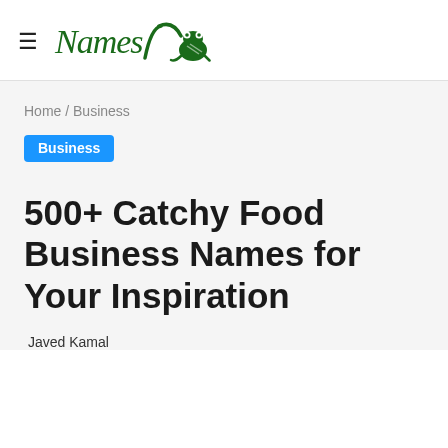Names [logo with frog]
Home / Business
Business
500+ Catchy Food Business Names for Your Inspiration
Javed Kamal